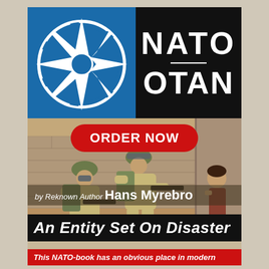[Figure (illustration): Book cover for 'NATO: An Entity Set On Disaster' by Hans Myrebro. Top section shows NATO/OTAN logo: blue square with white compass star on left, black background with white bold NATO text above and OTAN text below separated by a line, on right. A red oval 'ORDER NOW' button overlays the photo section. Lower portion shows a warzone photo of two soldiers in combat gear crouching near a wall, with a young girl visible behind a corner on the right side. Bottom shows author credit 'by Reknown Author Hans Myrebro', black title bar reading 'An Entity Set On Disaster' in white italic bold text, and red bar reading 'This NATO-book has an obvious place in modern'.]
An Entity Set On Disaster
by Reknown Author Hans Myrebro
This NATO-book has an obvious place in modern